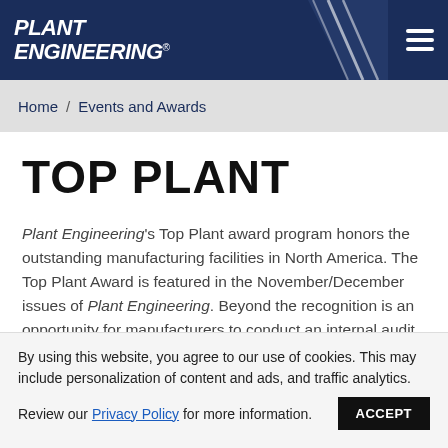[Figure (logo): Plant Engineering logo — bold italic white text on dark navy background with diagonal stripe decoration and hamburger menu icon]
Home / Events and Awards
TOP PLANT
Plant Engineering's Top Plant award program honors the outstanding manufacturing facilities in North America. The Top Plant Award is featured in the November/December issues of Plant Engineering. Beyond the recognition is an opportunity for manufacturers to conduct an internal audit of operations against the criteria in
By using this website, you agree to our use of cookies. This may include personalization of content and ads, and traffic analytics. Review our Privacy Policy for more information. ACCEPT